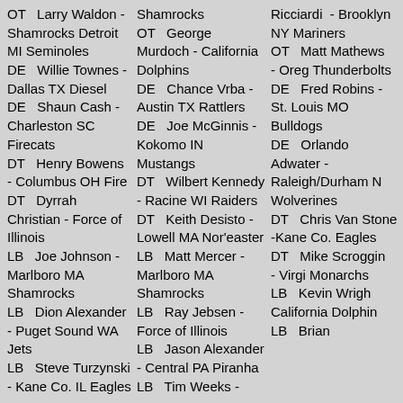OT Larry Waldon - Shamrocks Detroit MI Seminoles
DE Willie Townes - Dallas TX Diesel
DE Shaun Cash - Charleston SC Firecats
DT Henry Bowens - Columbus OH Fire
DT Dyrrah Christian - Force of Illinois
LB Joe Johnson - Marlboro MA Shamrocks
LB Dion Alexander - Puget Sound WA Jets
LB Steve Turzynski - Kane Co. IL Eagles
LB Pete Deates - Racine WI Raiders
CB Sylvester Jennings - Detroit MI
OT George Murdoch - California Dolphins
DE Chance Vrba - Austin TX Rattlers
DE Joe McGinnis - Kokomo IN Mustangs
DT Wilbert Kennedy - Racine WI Raiders
DT Keith Desisto - Lowell MA Nor'easter
LB Matt Mercer - Marlboro MA Shamrocks
LB Ray Jebsen - Force of Illinois
LB Jason Alexander - Central PA Piranha
LB Tim Weeks - Cleveland OH Lions
CB James Worthy - So. MI Timberwolves
Ricciardi - Brooklyn NY Mariners
OT Matt Mathews - Oreg Thunderbolts
DE Fred Robins - St. Louis MO Bulldogs
DE Orlando Adwater - Raleigh/Durham N Wolverines
DT Chris Van Stone -Kane Co. Eagles
DT Mike Scroggin - Virgi Monarchs
LB Kevin Wrigh California Dolphin
LB Brian